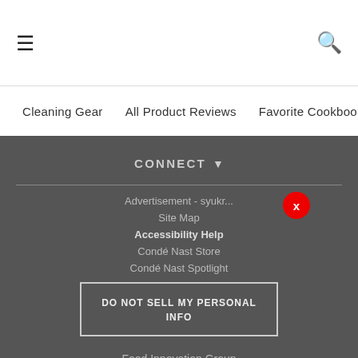☰ [hamburger menu] [search icon]
Cleaning Gear   All Product Reviews   Favorite Cookbooks   New...
CONNECT ▾
Advertisement - syukr... [X close button]
Site Map
Accessibility Help
Condé Nast Store
Condé Nast Spotlight
DO NOT SELL MY PERSONAL INFO
Food Innovation Group
© 2022 Condé Nast. All rights reserved. Use of this site constitutes acceptance of our User Agreement and Privacy Policy and Cookie